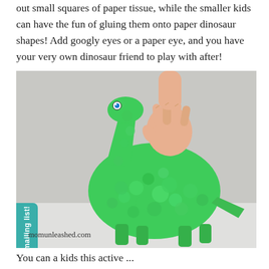out small squares of paper tissue, while the smaller kids can have the fun of gluing them onto paper dinosaur shapes! Add googly eyes or a paper eye, and you have your very own dinosaur friend to play with after!
[Figure (photo): A child's hand holding a paper mache dinosaur (brontosaurus shape) covered in crumpled green tissue paper squares, with a blue googly eye, on a white surface. Watermark: momunleashed.com]
You can a kids this active ...